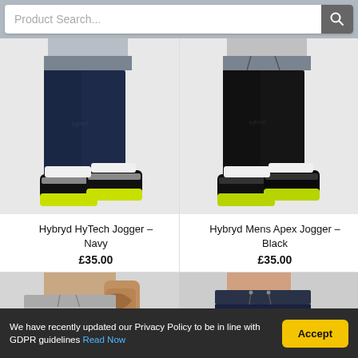[Figure (screenshot): Search bar with placeholder text 'Product Search...' and magnifying glass icon on grey background]
[Figure (photo): Person wearing navy Hybryd HyTech Jogger pants with grey waistband, black sneakers with yellow soles, shown from waist down]
Hybryd HyTech Jogger – Navy
£35.00
[Figure (photo): Person wearing black Hybryd Mens Apex Jogger pants with grey waistband, black sneakers with yellow soles, shown from waist down]
Hybryd Mens Apex Jogger – Black
£35.00
[Figure (photo): Person wearing light grey jogger shorts with drawstring, tattooed arm visible, shown from waist down]
[Figure (photo): Person wearing dark navy jogger pants with drawstring waistband, shown from waist down]
We have recently updated our Privacy Policy to be in line with GDPR guidelines Read Now